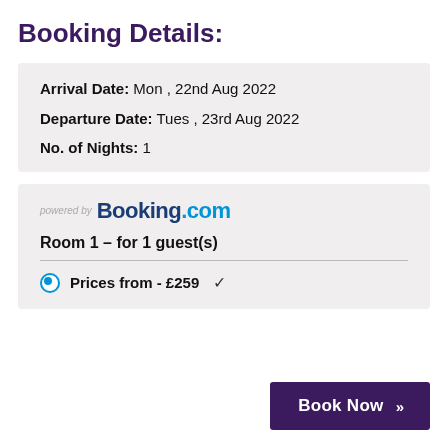Booking Details:
Arrival Date: Mon , 22nd Aug 2022
Departure Date: Tues , 23rd Aug 2022
No. of Nights: 1
powered by Booking.com
Room 1 – for 1 guest(s)
Prices from - £259 ✓
Book Now »